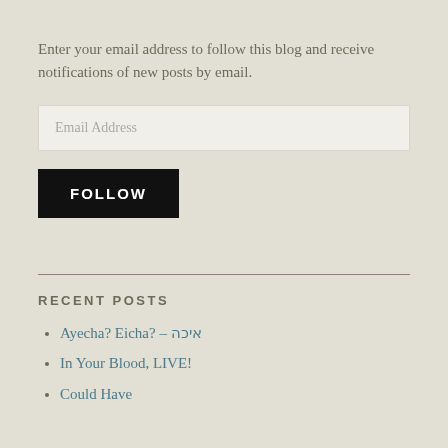Enter your email address to follow this blog and receive notifications of new posts by email.
[Figure (other): Email address input field with placeholder text 'Email Address']
[Figure (other): Black 'FOLLOW' button]
RECENT POSTS
Ayecha? Eicha? – איכה
In Your Blood, LIVE!
Could Have